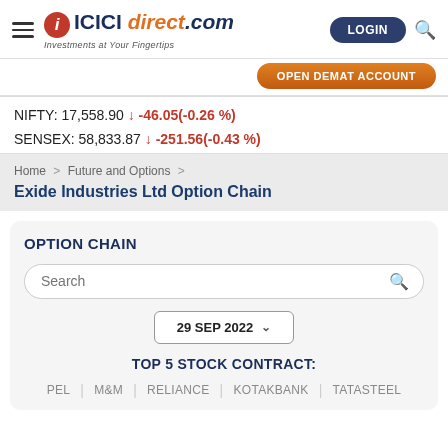ICICI direct.com — Investments at Your Fingertips | LOGIN | OPEN DEMAT ACCOUNT
NIFTY: 17,558.90 ↓ -46.05(-0.26 %)
SENSEX: 58,833.87 ↓ -251.56(-0.43 %)
Home > Future and Options > Exide Industries Ltd Option Chain
Exide Industries Ltd Option Chain
OPTION CHAIN
Search
29 SEP 2022
TOP 5 STOCK CONTRACT:
PEL | M&M | RELIANCE | KOTAKBANK | TATASTEEL